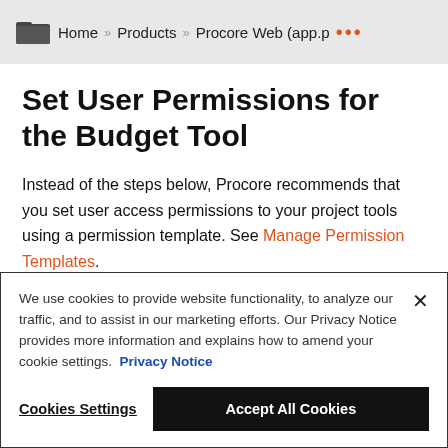Home » Products » Procore Web (app.p …
Set User Permissions for the Budget Tool
Instead of the steps below, Procore recommends that you set user access permissions to your project tools using a permission template. See Manage Permission Templates.
We use cookies to provide website functionality, to analyze our traffic, and to assist in our marketing efforts. Our Privacy Notice provides more information and explains how to amend your cookie settings. Privacy Notice
Cookies Settings  Accept All Cookies